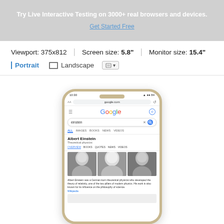Try Live Interactive Testing on 3000+ real browsers and devices.
Get Started Free
Viewport: 375x812  |  Screen size: 5.8"  |  Monitor size: 15.4"
Portrait  Landscape
[Figure (screenshot): Screenshot of a browser showing a mobile phone frame displaying Google search results for 'einstein', showing Albert Einstein results with photos]